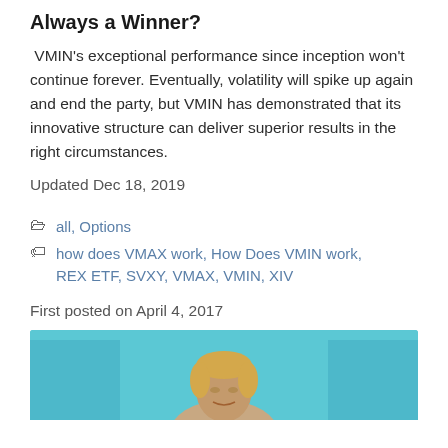Always a Winner?
VMIN's exceptional performance since inception won't continue forever. Eventually, volatility will spike up again and end the party, but VMIN has demonstrated that its innovative structure can deliver superior results in the right circumstances.
Updated Dec 18, 2019
all, Options
how does VMAX work, How Does VMIN work, REX ETF, SVXY, VMAX, VMIN, XIV
First posted on April 4, 2017
[Figure (photo): Partial photograph of a person speaking, teal/blue background, cropped near bottom of page]